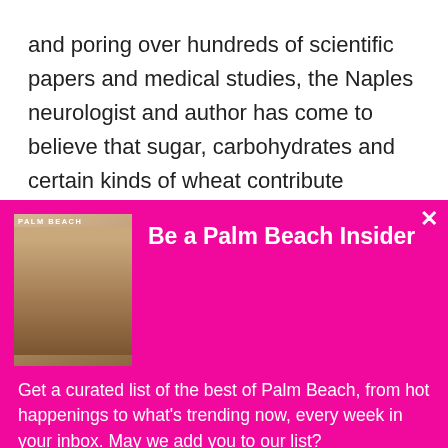and poring over hundreds of scientific papers and medical studies, the Naples neurologist and author has come to believe that sugar, carbohydrates and certain kinds of wheat contribute mightily to various brain disorders such as dementia, ADHD, migraines, and even depressed libido. Perlmutter believes that dementia, if not resolutely preventable, can be rolled back, at least somewhat. “You can
[Figure (other): Palm Beach magazine newsletter signup modal overlay with hot pink background, magazine cover image on left, title 'Be a Palm Beach Insider', descriptive text, and 'Sign Me Up!' button]